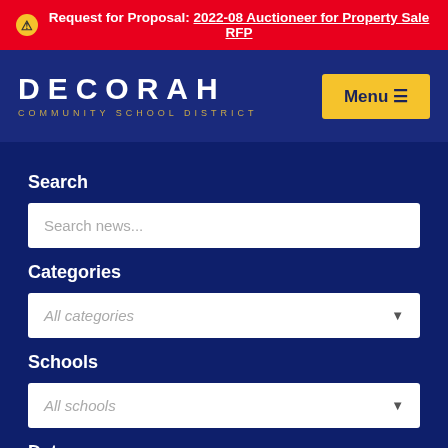Request for Proposal: 2022-08 Auctioneer for Property Sale RFP
[Figure (screenshot): Decorah Community School District logo with white text and gold subtitle on dark blue background, with yellow Menu button on right]
Search
Search news...
Categories
All categories
Schools
All schools
Date
Any date